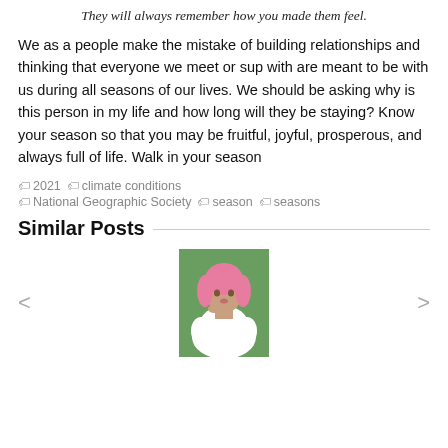They will always remember how you made them feel.
We as a people make the mistake of building relationships and thinking that everyone we meet or sup with are meant to be with us during all seasons of our lives. We should be asking why is this person in my life and how long will they be staying? Know your season so that you may be fruitful, joyful, prosperous, and always full of life. Walk in your season
2021
climate conditions
National Geographic Society
season
seasons
Similar Posts
[Figure (photo): A person with pink hair wearing a white feathery outfit, posing with hand near face against a green background]